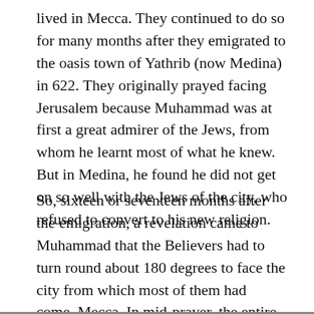lived in Mecca. They continued to do so for many months after they emigrated to the oasis town of Yathrib (now Medina) in 622. They originally prayed facing Jerusalem because Muhammad was at first a great admirer of the Jews, from whom he learnt most of what he knew. But in Medina, he found he did not get on so well with the Jews of the city, who refused to convert to his new religion.
So, sixteen or seventeen months after the emigration, a revelation came to Muhammad that the Believers had to turn round about 180 degrees to face the city from which most of them had come, Mecca. In mid-prayer, the entire congregation